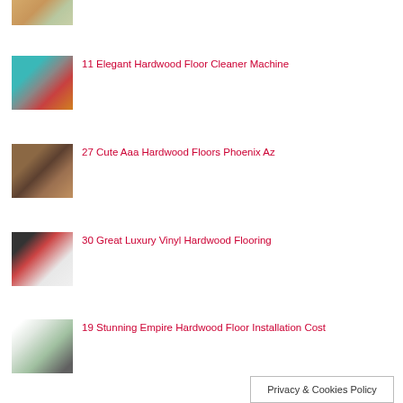[Figure (photo): Thumbnail image of hardwood flooring]
11 Elegant Hardwood Floor Cleaner Machine
[Figure (photo): Thumbnail image of floor cleaner machine on orange floor]
27 Cute Aaa Hardwood Floors Phoenix Az
[Figure (photo): Thumbnail image of hardwood floor room interior]
30 Great Luxury Vinyl Hardwood Flooring
[Figure (photo): Thumbnail image of luxury vinyl flooring with red chair]
19 Stunning Empire Hardwood Floor Installation Cost
[Figure (photo): Thumbnail image of hardwood floor staircase interior]
Privacy & Cookies Policy